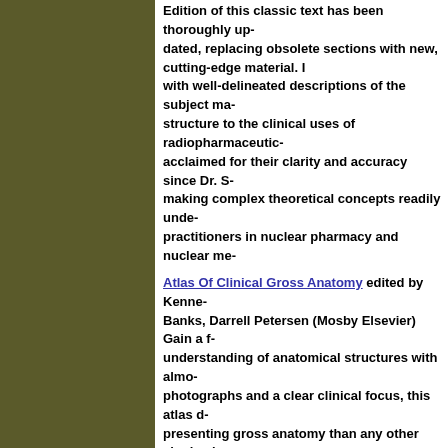Edition of this classic text has been thoroughly up-dated, replacing obsolete sections with new, cutting-edge material. It provides readers with well-delineated descriptions of the subject matter, from molecular structure to the clinical uses of radiopharmaceuticals. Illustrations acclaimed for their clarity and accuracy since Dr. ... making complex theoretical concepts readily understandable for practitioners in nuclear pharmacy and nuclear me...
Atlas Of Clinical Gross Anatomy edited by Kenne... Banks, Darrell Petersen (Mosby Elsevier) Gain a f... understanding of anatomical structures with almo... photographs and a clear clinical focus, this atlas d... presenting gross anatomy than any other single pi... templated chapter organization guides you smooth...
Large page format allows all the photograp... displayed in full for effortless orientation a... confusion and peering at small, closely crop...
Succinct introductions efficiently preview t... Over 200 artworks support descriptions in...
Clinical correlations describe common situ... for medical practice
Surface anatomy is brought to life with illu... interior anatomy relates to external feature...
Specially commissioned dissections, shown... superficial, intermediate and deep dissectio... high standard